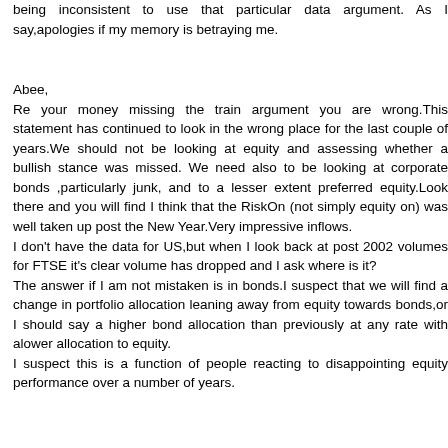being inconsistent to use that particular data argument. As I say,apologies if my memory is betraying me.
Abee,
Re your money missing the train argument you are wrong.This statement has continued to look in the wrong place for the last couple of years.We should not be looking at equity and assessing whether a bullish stance was missed. We need also to be looking at corporate bonds ,particularly junk, and to a lesser extent preferred equity.Look there and you will find I think that the RiskOn (not simply equity on) was well taken up post the New Year.Very impressive inflows.
I don't have the data for US,but when I look back at post 2002 volumes for FTSE it's clear volume has dropped and I ask where is it?
The answer if I am not mistaken is in bonds.I suspect that we will find a change in portfolio allocation leaning away from equity towards bonds,or I should say a higher bond allocation than previously at any rate with alower allocation to equity.
I suspect this is a function of people reacting to disappointing equity performance over a number of years.